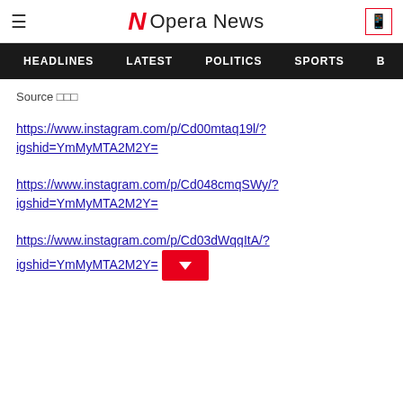Opera News – HEADLINES | LATEST | POLITICS | SPORTS
Source □□□
https://www.instagram.com/p/Cd00mtaq19l/?igshid=YmMyMTA2M2Y=
https://www.instagram.com/p/Cd048cmqSWy/?igshid=YmMyMTA2M2Y=
https://www.instagram.com/p/Cd03dWqqItA/?igshid=YmMyMTA2M2Y=